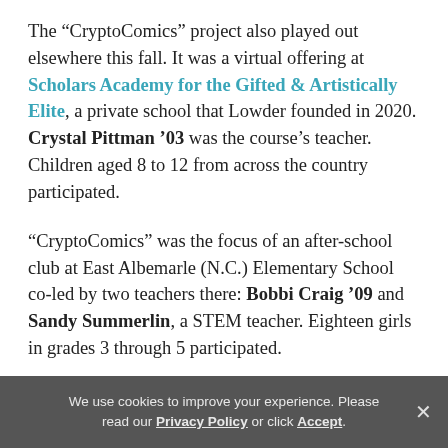The “CryptoComics” project also played out elsewhere this fall. It was a virtual offering at Scholars Academy for the Gifted & Artistically Elite, a private school that Lowder founded in 2020. Crystal Pittman ’03 was the course’s teacher. Children aged 8 to 12 from across the country participated.
“CryptoComics” was the focus of an after-school club at East Albemarle (N.C.) Elementary School co-led by two teachers there: Bobbi Craig ’09 and Sandy Summerlin, a STEM teacher. Eighteen girls in grades 3 through 5 participated.
“Dr. Lowder invited me to be a part of a
We use cookies to improve your experience. Please read our Privacy Policy or click Accept.